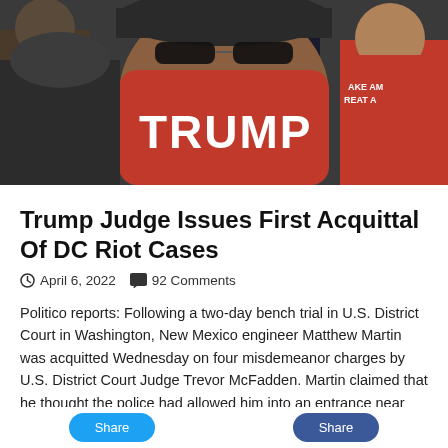[Figure (photo): Crowd of people; one individual in the foreground wearing a red face mask with 'TRUMP' written in white bold letters and a baseball cap with sunglasses. Another person in the background wears a red 'MAKE AMERICA GREAT AGAIN' hat.]
Trump Judge Issues First Acquittal Of DC Riot Cases
April 6, 2022   92 Comments
Politico reports: Following a two-day bench trial in U.S. District Court in Washington, New Mexico engineer Matthew Martin was acquitted Wednesday on four misdemeanor charges by U.S. District Court Judge Trevor McFadden. Martin claimed that he thought the police had allowed him into an entrance near the Capitol Rotunda on Jan. 6, 2021. McFadden said that, based on video of …
Read More »